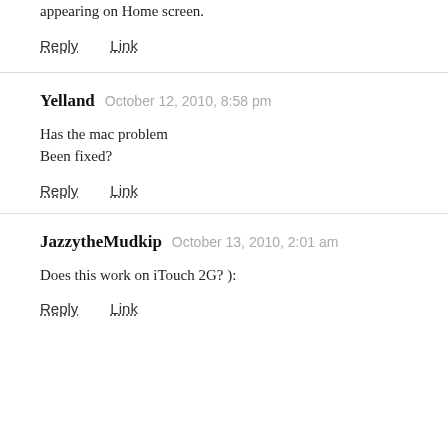appearing on Home screen.
Reply   Link
Yelland   October 12, 2010, 8:58 pm
Has the mac problem
Been fixed?
Reply   Link
JazzytheMudkip   October 13, 2010, 2:01 am
Does this work on iTouch 2G? ):
Reply   Link